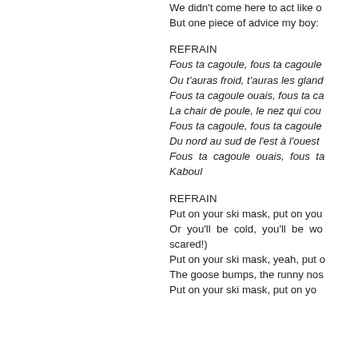We didn't come here to act like o
But one piece of advice my boy:
REFRAIN
Fous ta cagoule, fous ta cagoule
Ou t'auras froid, t'auras les gland
Fous ta cagoule ouais, fous ta ca
La chair de poule, le nez qui cou
Fous ta cagoule, fous ta cagoule
Du nord au sud de l'est à l'ouest
Fous ta cagoule ouais, fous ta
Kaboul
REFRAIN
Put on your ski mask, put on you
Or you'll be cold, you'll be wo scared!)
Put on your ski mask, yeah, put o
The goose bumps, the runny nos
Put on your ski mask, put on yo